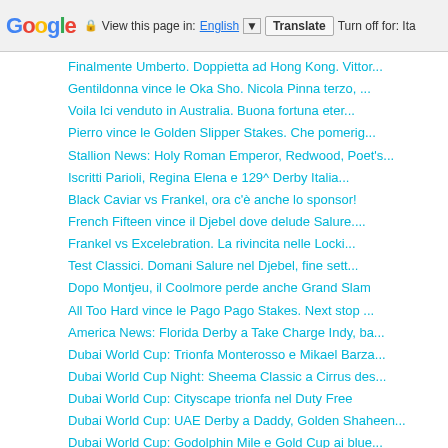Google  View this page in: English [▼]  Translate  Turn off for: Ita
Finalmente Umberto. Doppietta ad Hong Kong. Vittor...
Gentildonna vince le Oka Sho. Nicola Pinna terzo, ...
Voila Ici venduto in Australia. Buona fortuna eter...
Pierro vince le Golden Slipper Stakes. Che pomerig...
Stallion News: Holy Roman Emperor, Redwood, Poet's...
Iscritti Parioli, Regina Elena e 129^ Derby Italia...
Black Caviar vs Frankel, ora c'è anche lo sponsor!
French Fifteen vince il Djebel dove delude Salure....
Frankel vs Excelebration. La rivincita nelle Locki...
Test Classici. Domani Salure nel Djebel, fine sett...
Dopo Montjeu, il Coolmore perde anche Grand Slam
All Too Hard vince le Pago Pago Stakes. Next stop ...
America News: Florida Derby a Take Charge Indy, ba...
Dubai World Cup: Trionfa Monterosso e Mikael Barza...
Dubai World Cup Night: Sheema Classic a Cirrus des...
Dubai World Cup: Cityscape trionfa nel Duty Free
Dubai World Cup: UAE Derby a Daddy, Golden Shaheen...
Dubai World Cup: Godolphin Mile e Gold Cup ai blue...
► marzo (44)
► febbraio (32)